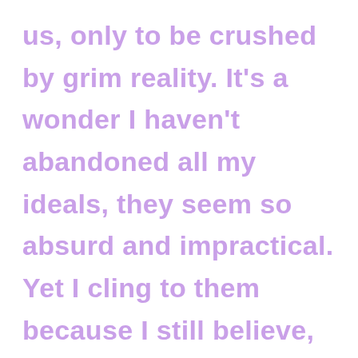us, only to be crushed by grim reality. It's a wonder I haven't abandoned all my ideals, they seem so absurd and impractical. Yet I cling to them because I still believe, in spite of everything, that people are truly good at heart. I simply can't build my hopes on a foundation of confusion, misery, and death. I hear the approaching thunder that, one day, will